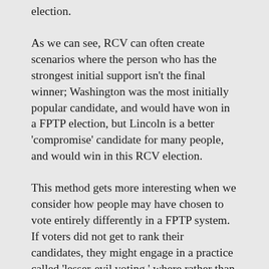election.
As we can see, RCV can often create scenarios where the person who has the strongest initial support isn't the final winner; Washington was the most initially popular candidate, and would have won in a FPTP election, but Lincoln is a better 'compromise' candidate for many people, and would win in this RCV election.
This method gets more interesting when we consider how people may have chosen to vote entirely differently in a FPTP system. If voters did not get to rank their candidates, they might engage in a practice called 'lesser-evil voting,' where rather than voting for the candidate they like best, they vote against the candidate they like least, and so choose someone they consider 'safe'. To go back to our example, people who dislike Washington may